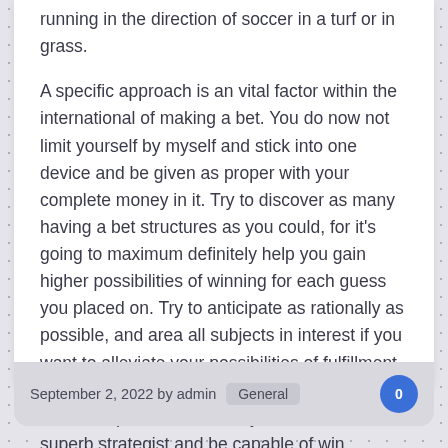running in the direction of soccer in a turf or in grass.
A specific approach is an vital factor within the international of making a bet. You do now not limit yourself by myself and stick into one device and be given as proper with your complete money in it. Try to discover as many having a bet structures as you could, for it's going to maximum definitely help you gain higher possibilities of winning for each guess you placed on. Try to anticipate as rationally as possible, and area all subjects in interest if you want to alleviate your possibilities of fulfillment all of the more. With these kinds of in mind, you can even preserve in mind your self as a superb strategist and be capable of win.
September 2, 2022 by admin   General   0